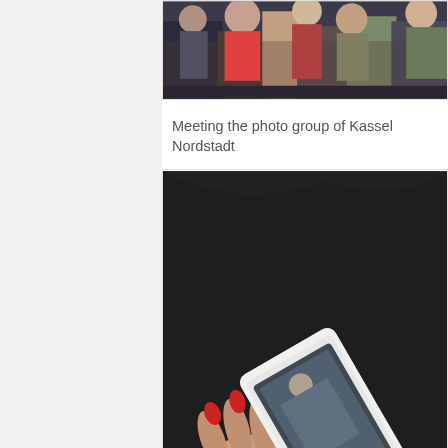[Figure (photo): Group of people at a meeting or event, partially visible at top of page]
Meeting the photo group of Kassel Nordstadt
[Figure (photo): Hands holding a smartphone showing a photo, against a dark leather background]
Understanding the community's landscape with photo voice
[Figure (photo): Audience seated in a room, presenter or speaker visible on the right side]